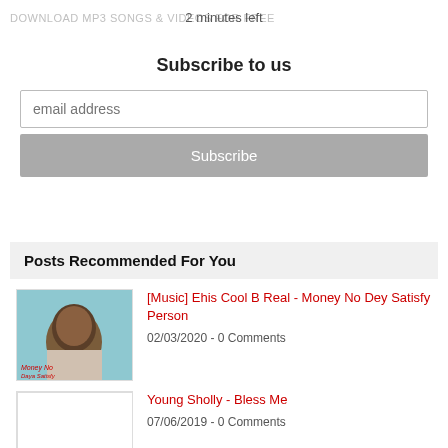DOWNLOAD MP3 SONGS & VIDEOS FOR FREE
2 minutes left
Subscribe to us
email address
Subscribe
Posts Recommended For You
[Music] Ehis Cool B Real - Money No Dey Satisfy Person
02/03/2020 - 0 Comments
Young Sholly - Bless Me
07/06/2019 - 0 Comments